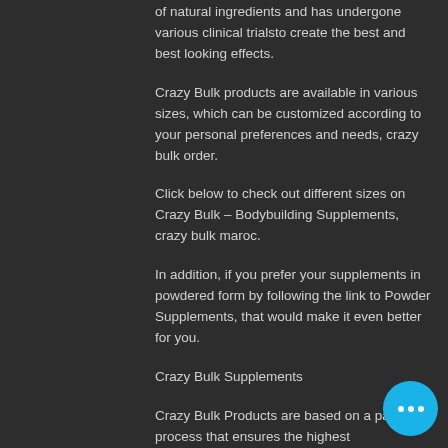of natural ingredients and has undergone various clinical trialsto create the best and best looking effects.
Crazy Bulk products are available in various sizes, which can be customized according to your personal preferences and needs, crazy bulk order.
Click below to check out different sizes on Crazy Bulk – Bodybuilding Supplements, crazy bulk maroc.
In addition, if you prefer your supplements in powdered form by following the link to Powder Supplements, that would make it even better for you.
Crazy Bulk Supplements
Crazy Bulk Products are based on a patented process that ensures the highest